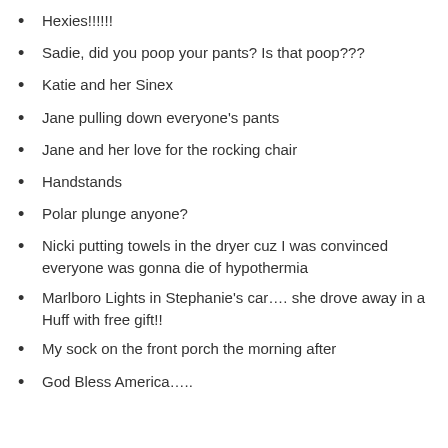Hexies!!!!!!
Sadie, did you poop your pants?  Is that poop???
Katie and her Sinex
Jane pulling down everyone's pants
Jane and her love for the rocking chair
Handstands
Polar plunge anyone?
Nicki putting towels in the dryer cuz I was convinced everyone was gonna die of hypothermia
Marlboro Lights in Stephanie's car…. she drove away in a Huff with free gift!!
My sock on the front porch the morning after
God Bless America…..